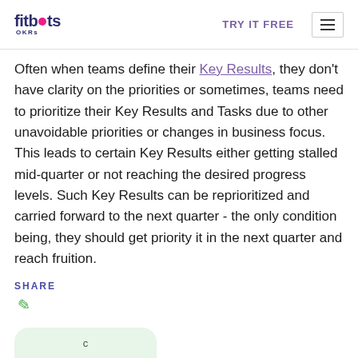fitbots OKRs | TRY IT FREE
Often when teams define their Key Results, they don't have clarity on the priorities or sometimes, teams need to prioritize their Key Results and Tasks due to other unavoidable priorities or changes in business focus. This leads to certain Key Results either getting stalled mid-quarter or not reaching the desired progress levels. Such Key Results can be reprioritized and carried forward to the next quarter - the only condition being, they should get priority it in the next quarter and reach fruition.
SHARE